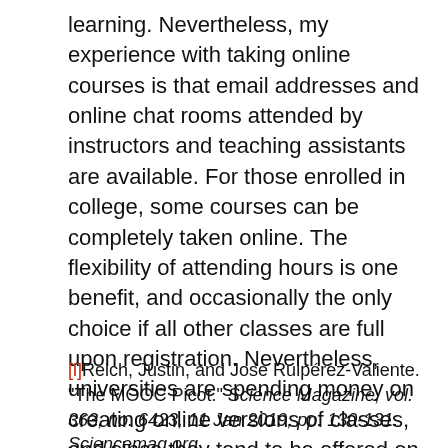learning. Nevertheless, my experience with taking online courses is that email addresses and online chat rooms attended by instructors and teaching assistants are available. For those enrolled in college, some courses can be completely taken online. The flexibility of attending hours is one benefit, and occasionally the only choice if all other classes are full upon registration. Nevertheless, universities are spending money on creating online versions of classes, and since they tend to be offered on a MOOC platform, anyone can attend.
[i]Reich, Justin, and Jose Ruipérez-Valiente. "The MOOC Picot." Science Magazine, vol. 363, no. 6423, 11 Jan 2019, pp. 130-131. Sciencemag.org